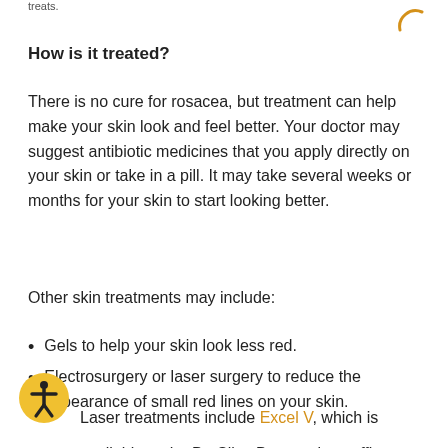treats.
How is it treated?
There is no cure for rosacea, but treatment can help make your skin look and feel better. Your doctor may suggest antibiotic medicines that you apply directly on your skin or take in a pill. It may take several weeks or months for your skin to start looking better.
Other skin treatments may include:
Gels to help your skin look less red.
Electrosurgery or laser surgery to reduce the appearance of small red lines on your skin.
Laser treatments include Excel V, which is available at the De Silva Dermatology office